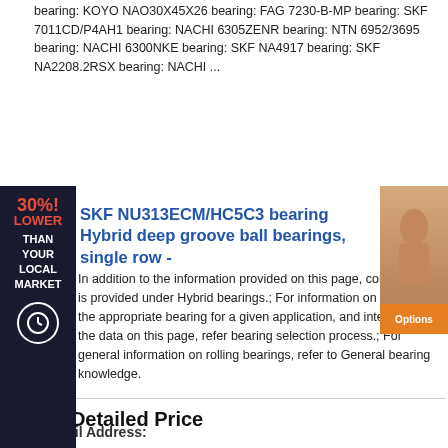bearing: KOYO NAO30X45X26 bearing: FAG 7230-B-MP bearing: SKF 7011CD/P4AH1 bearing: NACHI 6305ZENR bearing: NTN 6952/3695 bearing: NACHI 6300NKE bearing: SKF NA4917 bearing: SKF NA2208.2RSX bearing: NACHI ...
[Figure (illustration): Dark advertisement banner on left side showing '30% LOWER THAN YOUR LOCAL MARKET' text with a clock icon, and a photo of a woman on the right side with an orange button below.]
SKF NU313ECM/HC5C3 bearing Hybrid deep groove ball bearings, single row -
In addition to the information provided on this page, consider what is provided under Hybrid bearings.; For information on selecting the appropriate bearing for a given application, and interpreting the data on this page, refer bearing selection process.; For general information on rolling bearings, refer to General bearing knowledge.
Get Detailed Price
* Your Name:
Please enter your name
[Figure (screenshot): Blue contact button with chat icon and 'contact' text]
* E-Mail Address: